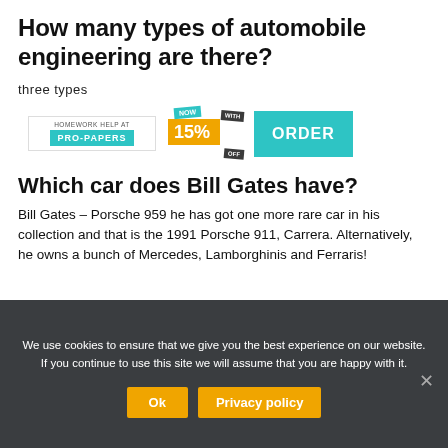How many types of automobile engineering are there?
three types
[Figure (infographic): Pro-Papers homework help advertisement banner with teal PRO-PAPERS branding, a discount badge showing NOW 15% OFF WITH, and a teal ORDER button]
Which car does Bill Gates have?
Bill Gates – Porsche 959 he has got one more rare car in his collection and that is the 1991 Porsche 911, Carrera. Alternatively, he owns a bunch of Mercedes, Lamborghinis and Ferraris!
We use cookies to ensure that we give you the best experience on our website. If you continue to use this site we will assume that you are happy with it.